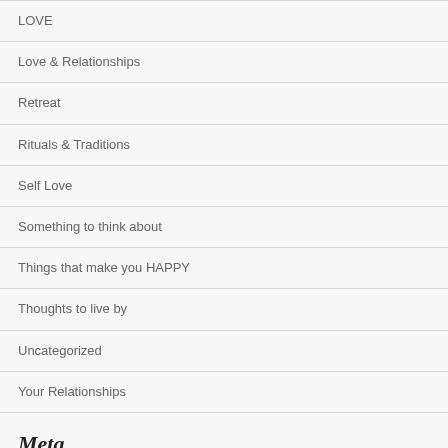LOVE
Love & Relationships
Retreat
Rituals & Traditions
Self Love
Something to think about
Things that make you HAPPY
Thoughts to live by
Uncategorized
Your Relationships
Meta
Register